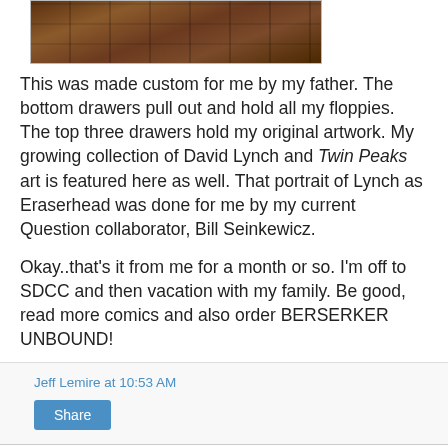[Figure (photo): Partial photo of wooden drawers/shelving unit, showing the top portion cropped]
This was made custom for me by my father. The bottom drawers pull out and hold all my floppies. The top three drawers hold my original artwork. My growing collection of David Lynch and Twin Peaks art is featured here as well. That portrait of Lynch as Eraserhead was done for me by my current Question collaborator, Bill Seinkewicz.
Okay..that's it from me for a month or so. I'm off to SDCC and then vacation with my family. Be good, read more comics and also order BERSERKER UNBOUND!
Jeff Lemire at 10:53 AM
Share
Thursday, July 11, 2019
JOKER, THE QUESTION and THE FUTURE OF BLACK HAMMER!